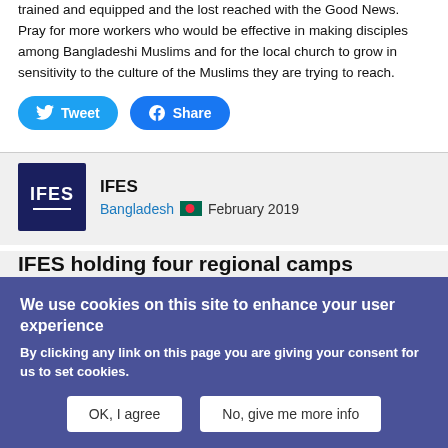trained and equipped and the lost reached with the Good News. Pray for more workers who would be effective in making disciples among Bangladeshi Muslims and for the local church to grow in sensitivity to the culture of the Muslims they are trying to reach.
Tweet  Share
IFES
Bangladesh  February 2019
IFES holding four regional camps
The IFES movement in Bangladesh is holding four regional camps in March - June. The theme for each is "Be Shining – Isaiah 60v1". Pray that each Christian student would shine on their campus, that their friends would turn to Christ and that this would bring glory to God in Bangladeshi universities. It is a complex place to share Christ, so the movement also ask for prayer for protection for their country "from political complexity and violence. Also
We use cookies on this site to enhance your user experience
By clicking any link on this page you are giving your consent for us to set cookies.
OK, I agree   No, give me more info